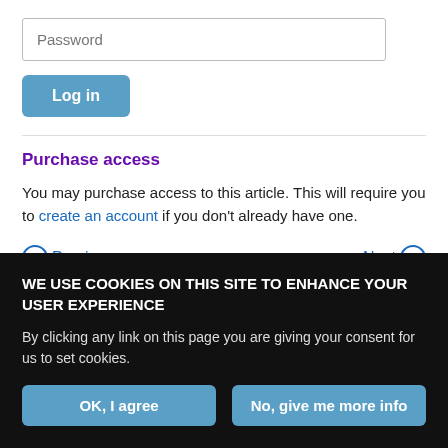[Figure (screenshot): Password input field with placeholder text 'Password']
[Figure (screenshot): Blue 'Log in' button]
Purchase access
You may purchase access to this article. This will require you to create an account if you don't already have one.
Previous   Next
Back to top
WE USE COOKIES ON THIS SITE TO ENHANCE YOUR USER EXPERIENCE
By clicking any link on this page you are giving your consent for us to set cookies.
OK, I agree   No, give me more info